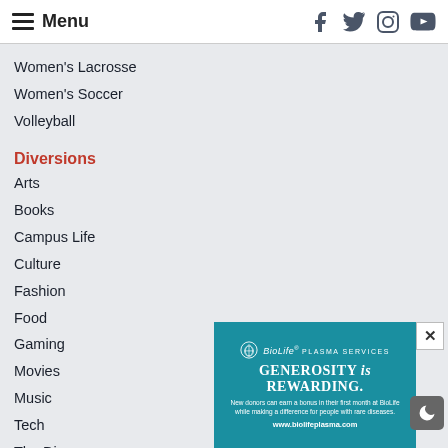Menu [hamburger icon] | Facebook Twitter Instagram YouTube
Women's Lacrosse
Women's Soccer
Volleyball
Diversions
Arts
Books
Campus Life
Culture
Fashion
Food
Gaming
Movies
Music
Tech
The Dive
TV
[Figure (infographic): BioLife Plasma Services advertisement. Text: GENEROSITY is REWARDING. New donors can earn a bonus in their first month at BioLife while making a difference for people with rare diseases. www.biolifeplasma.com]
Opinion